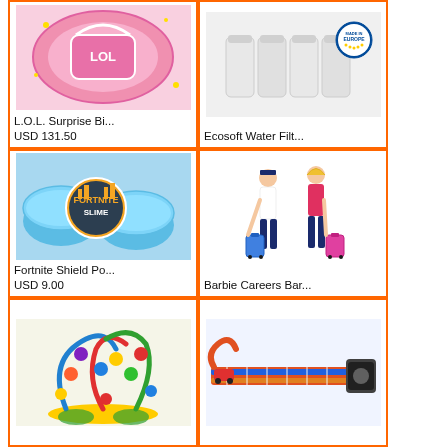[Figure (photo): L.O.L. Surprise pink glitter case product photo]
L.O.L. Surprise Bi...
USD 131.50
[Figure (photo): Ecosoft water filter cartridges with Made in Europe logo]
Ecosoft Water Filt...
[Figure (photo): Fortnite Shield Potion blue slime tubs with Fortnite Slime logo]
Fortnite Shield Po...
USD 9.00
[Figure (photo): Barbie Careers Barbie and Ken pilot/flight attendant dolls with luggage]
Barbie Careers Bar...
[Figure (photo): Colorful wooden bead maze toy with animal shapes]
[Figure (photo): Hot Wheels or similar long track/ramp toy set]